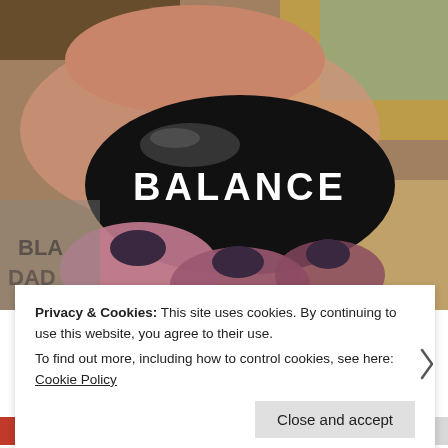[Figure (photo): Close-up photo of a hand holding a smooth black oval stone engraved with the word 'BALANCE' in white letters. The hand has dark purple/black nail polish. Background shows blurred shelving or frames.]
Privacy & Cookies: This site uses cookies. By continuing to use this website, you agree to their use.
To find out more, including how to control cookies, see here: Cookie Policy
Close and accept